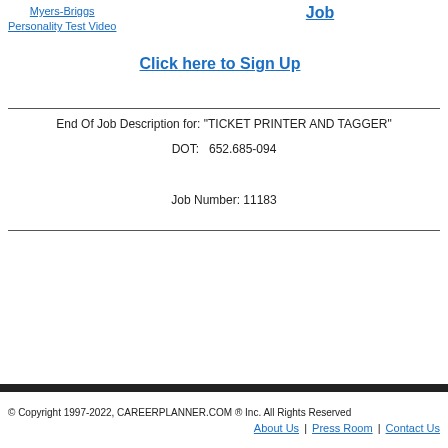Myers-Briggs Personality Test Video
Job
Click here to Sign Up
End Of Job Description for: "TICKET PRINTER AND TAGGER"
DOT:   652.685-094

Job Number: 11183
© Copyright 1997-2022, CAREERPLANNER.COM ® Inc. All Rights Reserved
About Us | Press Room | Contact Us